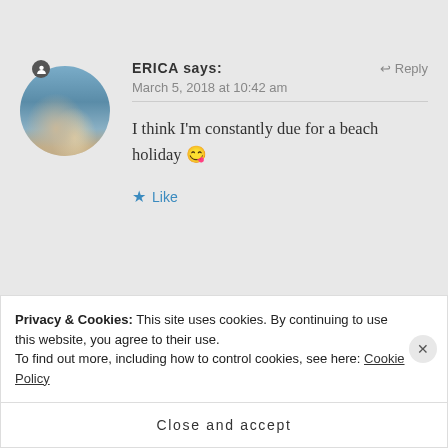ERICA says:
March 5, 2018 at 10:42 am
I think I'm constantly due for a beach holiday 😉
★ Like
[Figure (photo): Circular avatar photo of a person at a beach/rocky shore with water in background]
JAS says:
↩ Reply
Privacy & Cookies: This site uses cookies. By continuing to use this website, you agree to their use.
To find out more, including how to control cookies, see here: Cookie Policy
Close and accept